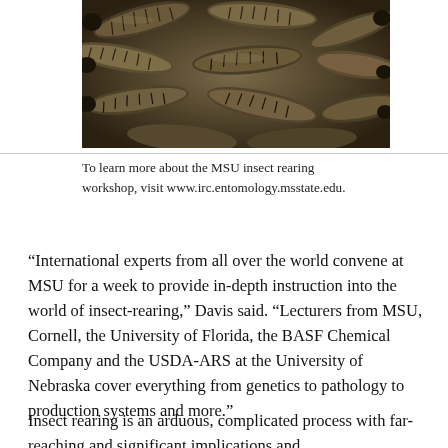[Figure (photo): Close-up photograph of many insect larvae/maggots (black soldier fly larvae) clustered together, showing their dark segmented bodies in detail.]
To learn more about the MSU insect rearing workshop, visit www.irc.entomology.msstate.edu.
“International experts from all over the world convene at MSU for a week to provide in-depth instruction into the world of insect-rearing,” Davis said. “Lecturers from MSU, Cornell, the University of Florida, the BASF Chemical Company and the USDA-ARS at the University of Nebraska cover everything from genetics to pathology to production systems and more.”
Insect rearing is an arduous, complicated process with far-reaching and significant implications and